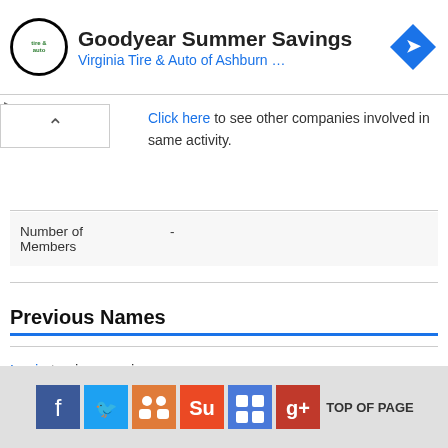[Figure (other): Goodyear Summer Savings advertisement banner with Virginia Tire & Auto of Ashburn logo and blue diamond arrow icon]
Click here to see other companies involved in same activity.
| Field | Value |
| --- | --- |
| Number of Members | - |
Previous Names
Login to view previous names
[Figure (other): Social media sharing footer icons: Facebook, Twitter, LinkedIn, StumbleUpon, Delicious, Google Plus, with TOP OF PAGE text]